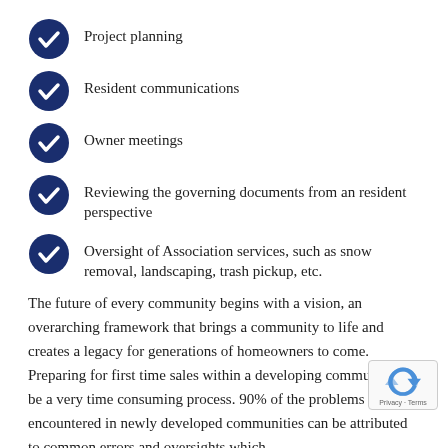Project planning
Resident communications
Owner meetings
Reviewing the governing documents from an resident perspective
Oversight of Association services, such as snow removal, landscaping, trash pickup, etc.
The future of every community begins with a vision, an overarching framework that brings a community to life and creates a legacy for generations of homeowners to come. Preparing for first time sales within a developing community can be a very time consuming process. 90% of the problems encountered in newly developed communities can be attributed to common errors and oversights which